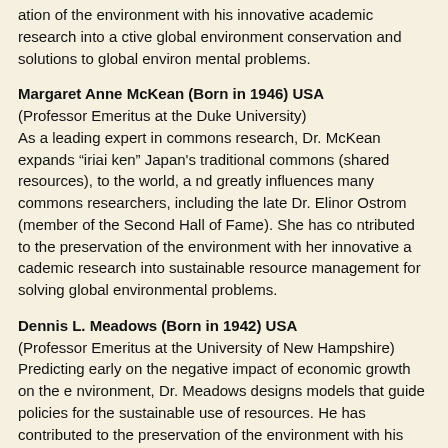ation of the environment with his innovative academic research into active global environment conservation and solutions to global environmental problems.
Margaret Anne McKean (Born in 1946) USA
(Professor Emeritus at the Duke University)
As a leading expert in commons research, Dr. McKean expands “iriai ken” Japan’s traditional commons (shared resources), to the world, and greatly influences many commons researchers, including the late Dr. Elinor Ostrom (member of the Second Hall of Fame). She has contributed to the preservation of the environment with her innovative academic research into sustainable resource management for solving global environmental problems.
Dennis L. Meadows (Born in 1942) USA
(Professor Emeritus at the University of New Hampshire)
Predicting early on the negative impact of economic growth on the environment, Dr. Meadows designs models that guide policies for the sustainable use of resources. He has contributed to the preservation of the environment with his pioneering academic research into sustainable resource use, and works towards solving global environmental